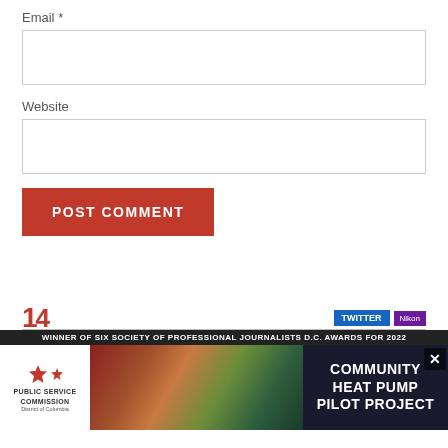Email *
Website
POST COMMENT
CURRENT NEWSPAPER
[Figure (screenshot): Newspaper advertisement banner showing 'WINNER OF SIX SOCIETY OF PROFESSIONAL JOURNALISTS D.C. AWARDS FOR 2022', with red numbers, Public Service Commission logo, and 'COMMUNITY HEAT PUMP PILOT PROJECT' text overlay]